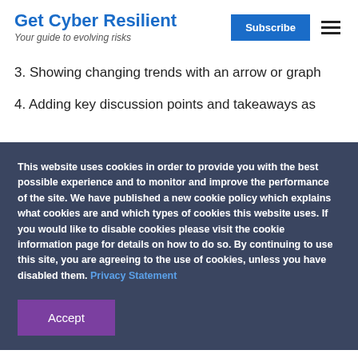Get Cyber Resilient — Your guide to evolving risks
3. Showing changing trends with an arrow or graph
4. Adding key discussion points and takeaways as
This website uses cookies in order to provide you with the best possible experience and to monitor and improve the performance of the site. We have published a new cookie policy which explains what cookies are and which types of cookies this website uses. If you would like to disable cookies please visit the cookie information page for details on how to do so. By continuing to use this site, you are agreeing to the use of cookies, unless you have disabled them. Privacy Statement
Accept